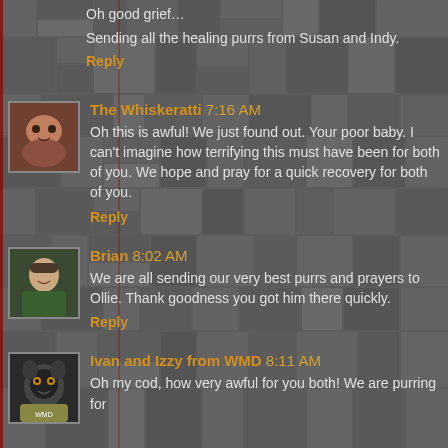Oh good grief…
Sending all the healing purrs from Susan and Indy.
Reply
The Whiskeratti 7:16 AM
Oh this is awful! We just found out. Your poor baby. I can't imagine how terrifying this must have been for both of you. We hope and pray for a quick recovery for both of you.
Reply
Brian 8:02 AM
We are all sending our very best purrs and prayers to Ollie. Thank goodness you got him there quickly.
Reply
Ivan and Izzy from WMD 8:11 AM
Oh my cod, how very awful for you both! We are purring for